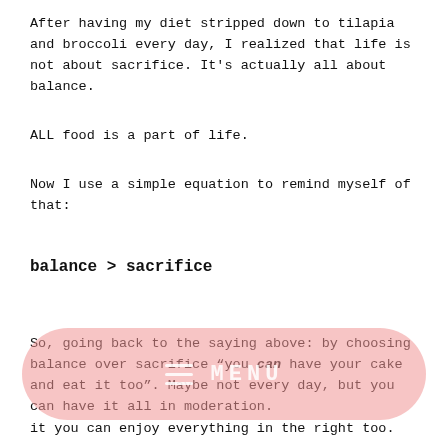After having my diet stripped down to tilapia and broccoli every day, I realized that life is not about sacrifice. It's actually all about balance.
ALL food is a part of life.
Now I use a simple equation to remind myself of that:
So, going back to the saying above: by choosing balance over sacrifice “you can have your cake and eat it too”. Maybe not every day, but you can have it all in moderation.
[Figure (other): Pink semi-transparent MENU button overlay with hamburger menu icon and MENU text]
it you can enjoy everything in the right too.